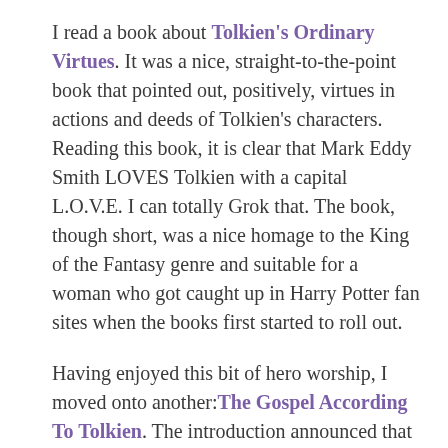I read a book about Tolkien's Ordinary Virtues. It was a nice, straight-to-the-point book that pointed out, positively, virtues in actions and deeds of Tolkien's characters. Reading this book, it is clear that Mark Eddy Smith LOVES Tolkien with a capital L.O.V.E. I can totally Grok that. The book, though short, was a nice homage to the King of the Fantasy genre and suitable for a woman who got caught up in Harry Potter fan sites when the books first started to roll out.
Having enjoyed this bit of hero worship, I moved onto another: The Gospel According To Tolkien. The introduction announced that the writer was a professor. This is usually a cry akin to: “You must pay attention to me, I have a degree,” which we hear